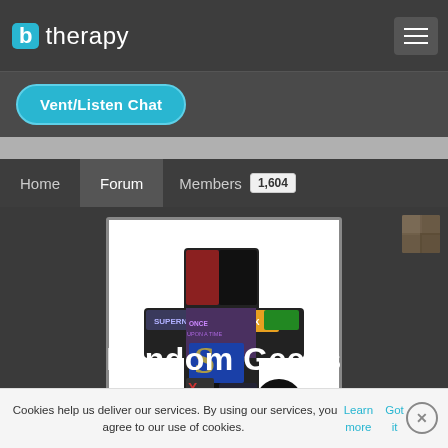[Figure (logo): btherapy logo with blue speech bubble 'b' icon and 'therapy' text in white]
Vent/Listen Chat
Home | Forum | Members 1,604
[Figure (illustration): Fandom Geeks group image: letter 't' made of fandom movie/TV show collage images including Supernatural, The Lorax, Batman, Hunger Games logos on white background]
Fandom Geeks
Cookies help us deliver our services. By using our services, you agree to our use of cookies. Learn more  Got it